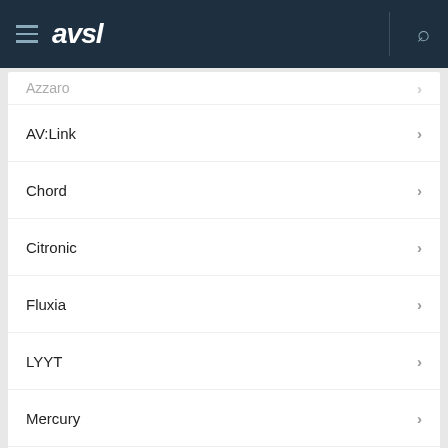AVSL
AV:Link
Chord
Citronic
Fluxia
LYYT
Mercury
QTX
Product categories
Adaptors (42)
Amplifiers (57)